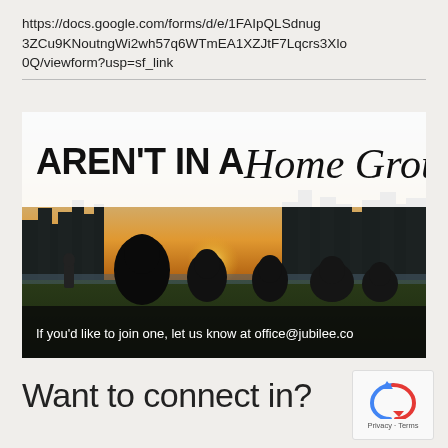https://docs.google.com/forms/d/e/1FAIpQLSdnug3ZCu9KNoutngWi2wh57q6WTmEA1XZJtF7Lqcrs3Xlo0Q/viewform?usp=sf_link
[Figure (photo): Promotional image for a church home group. Top text reads 'AREN'T IN A Home Group?' in bold and script fonts. Background shows a cityscape at sunset with silhouettes of people sitting on grass in the foreground. Bottom dark banner reads 'If you'd like to join one, let us know at office@jubilee.co']
Want to connect in?